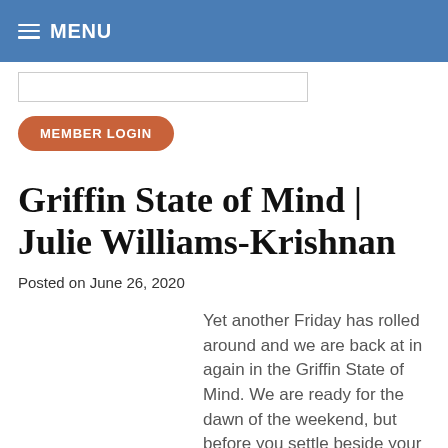MENU
[Figure (other): Search bar input field]
MEMBER LOGIN
Griffin State of Mind | Julie Williams-Krishnan
Posted on June 26, 2020
Yet another Friday has rolled around and we are back at in again in the Griffin State of Mind. We are ready for the dawn of the weekend, but before you settle beside your Friday night campfire with